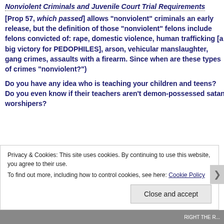Nonviolent Criminals and Juvenile Court Trial Requirements
[Prop 57, which passed] allows "nonviolent" criminals an early release, but the definition of those "nonviolent" felons include felons convicted of: rape, domestic violence, human trafficking [a big victory for PEDOPHILES], arson, vehicular manslaughter, gang crimes, assaults with a firearm. Since when are these types of crimes "nonviolent?")
Do you have any idea who is teaching your children and teens? Do you even know if their teachers aren't demon-possessed satan worshipers?
Privacy & Cookies: This site uses cookies. By continuing to use this website, you agree to their use. To find out more, including how to control cookies, see here: Cookie Policy